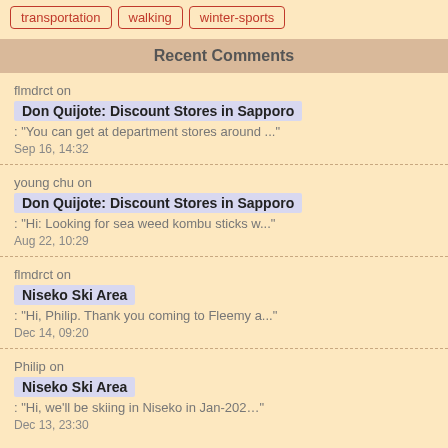transportation
walking
winter-sports
Recent Comments
flmdrct on
Don Quijote: Discount Stores in Sapporo
: "You can get at department stores around ..."
Sep 16, 14:32
young chu on
Don Quijote: Discount Stores in Sapporo
: "Hi: Looking for sea weed kombu sticks w..."
Aug 22, 10:29
flmdrct on
Niseko Ski Area
: "Hi, Philip. Thank you coming to Fleemy a..."
Dec 14, 09:20
Philip on
Niseko Ski Area
: "Hi, we'll be skiing in Niseko in Jan-202..."
Dec 13, 23:30